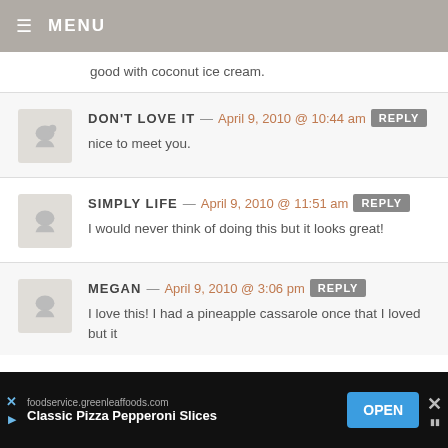≡ MENU
good with coconut ice cream.
DON'T LOVE IT — April 9, 2010 @ 10:44 am REPLY
nice to meet you.
SIMPLY LIFE — April 9, 2010 @ 11:51 am REPLY
I would never think of doing this but it looks great!
MEGAN — April 9, 2010 @ 3:06 pm REPLY
I love this! I had a pineapple cassarole once that I loved but it